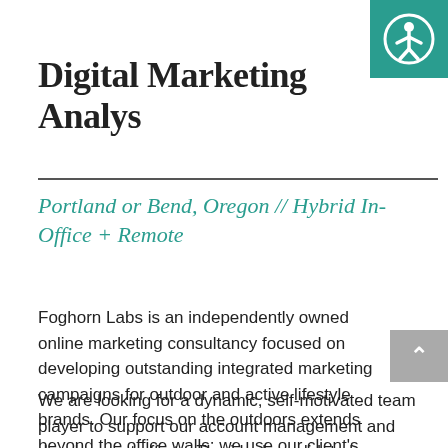Digital Marketing Analyst
[Figure (illustration): Teal square badge with white accessibility icon (person in circle) in top-right corner]
Portland or Bend, Oregon // Hybrid In-Office + Remote
Foghorn Labs is an independently owned online marketing consultancy focused on developing outstanding integrated marketing campaigns for outdoor and active lifestyle brands. Our focus on the outdoors extends beyond the office walls; we use our client's products on a daily basis to enhance the activities we love.
We are looking for a dynamic, self-motivated team player to support our account management and development efforts. The ideal candidate has a solid understanding of